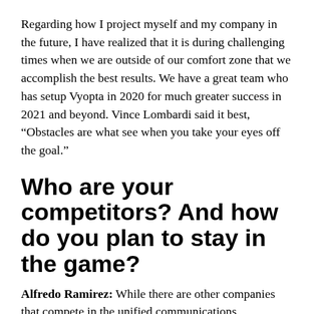Regarding how I project myself and my company in the future, I have realized that it is during challenging times when we are outside of our comfort zone that we accomplish the best results. We have a great team who has setup Vyopta in 2020 for much greater success in 2021 and beyond. Vince Lombardi said it best, “Obstacles are what see when you take your eyes off the goal.”
Who are your competitors? And how do you plan to stay in the game?
Alfredo Ramirez: While there are other companies that compete in the unified communications monitoring and analytics space, Vyopta works closely with major UC vendors like Cisco, Microsoft, Google, Zoom, and others to provide a best-of-breed solution. We follow an agile development process and are responsive to the needs of